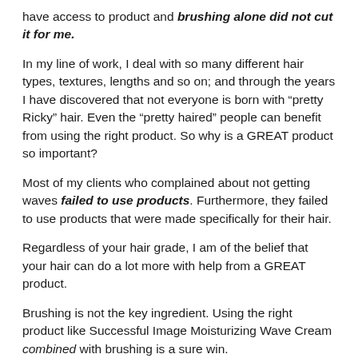have access to product and brushing alone did not cut it for me.
In my line of work, I deal with so many different hair types, textures, lengths and so on; and through the years I have discovered that not everyone is born with “pretty Ricky” hair. Even the “pretty haired” people can benefit from using the right product. So why is a GREAT product so important?
Most of my clients who complained about not getting waves failed to use products. Furthermore, they failed to use products that were made specifically for their hair.
Regardless of your hair grade, I am of the belief that your hair can do a lot more with help from a GREAT product.
Brushing is not the key ingredient. Using the right product like Successful Image Moisturizing Wave Cream combined with brushing is a sure win.
Product helps to soften and train the hair so that it is easily managed into forming the wave pattern. Brushing trains the hair in the direction that it should go, but using the correct product is very important. If your hair is dry, dull, dirty, and brittle what